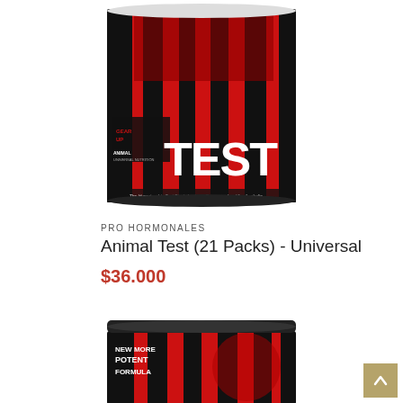[Figure (photo): Animal Test (21 Packs) by Universal Nutrition supplement can with red and black label showing 'TEST' in large white letters, 'GEAR UP' text, and 'The Hypertrophic Test Stack Anabolic Response Amplifier' tagline at bottom]
PRO HORMONALES
Animal Test (21 Packs) - Universal
$36.000
[Figure (photo): Animal brand supplement tub with black lid and red/black label showing 'NEW MORE POTENT FORMULA' text with animal silhouette graphics]